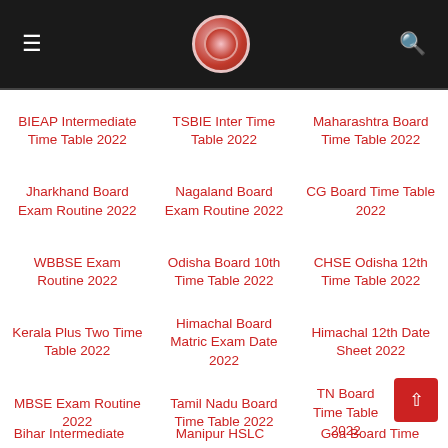Navigation header with menu, logo, and search
BIEAP Intermediate Time Table 2022
TSBIE Inter Time Table 2022
Maharashtra Board Time Table 2022
Jharkhand Board Exam Routine 2022
Nagaland Board Exam Routine 2022
CG Board Time Table 2022
WBBSE Exam Routine 2022
Odisha Board 10th Time Table 2022
CHSE Odisha 12th Time Table 2022
Kerala Plus Two Time Table 2022
Himachal Board Matric Exam Date 2022
Himachal 12th Date Sheet 2022
MBSE Exam Routine 2022
Tamil Nadu Board Time Table 2022
TN Board Time Table 2022
Bihar Intermediate
Manipur HSLC
Goa Board Time